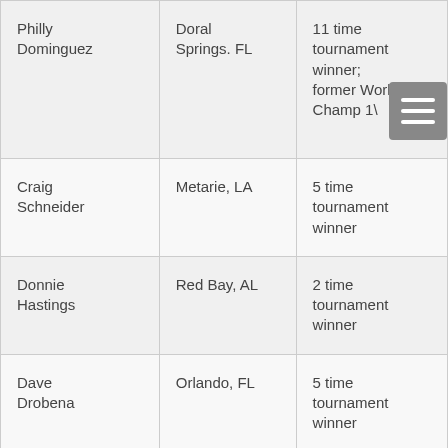| Name | Location | Achievements |
| --- | --- | --- |
| Philly Dominguez | Doral Springs. FL | 11 time tournament winner; former World Champ 1\ |
| Craig Schneider | Metarie, LA | 5 time tournament winner |
| Donnie Hastings | Red Bay, AL | 2 time tournament winner |
| Dave Drobena | Orlando, FL | 5 time tournament winner |
| Russ Lemmon | Vero Beach, FL | 1 time tournament winner |
| Adam | North Miami, | 1 time |